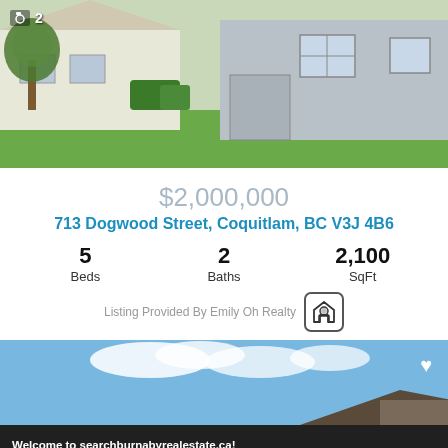[Figure (photo): Exterior photo of a house with grass lawn, trees, and grey siding. Camera icon with '2' overlay in top-left corner.]
$2,000,000
713 Dogwood Street, Coquitlam, BC V3J 4B6
5 Beds   2 Baths   2,100 SqFt
Listing Provided By Emily Oh Realty
[Figure (photo): Exterior photo of a house roof with blue sky and clouds. Heart/favorite icon in top-right corner.]
Welcome to searchburnabyrealestate.ca! We use cookies that recognize your device to provide you access to our service and to improve our website. You can disable cookies through your browser but some features of the site will no longer be available. To read our Privacy Policy, click here.